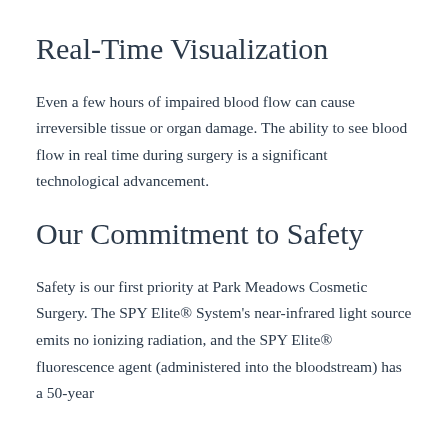Real-Time Visualization
Even a few hours of impaired blood flow can cause irreversible tissue or organ damage. The ability to see blood flow in real time during surgery is a significant technological advancement.
Our Commitment to Safety
Safety is our first priority at Park Meadows Cosmetic Surgery. The SPY Elite® System's near-infrared light source emits no ionizing radiation, and the SPY Elite® fluorescence agent (administered into the bloodstream) has a 50-year